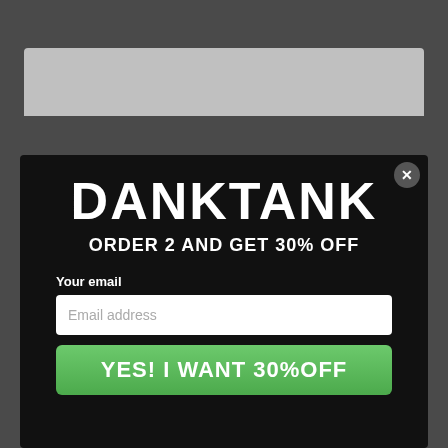[Figure (screenshot): Website background with gray tones and a popup modal overlay]
DANKTANK
ORDER 2 AND GET 30% OFF
Your email
Email address
YES! I WANT 30%OFF